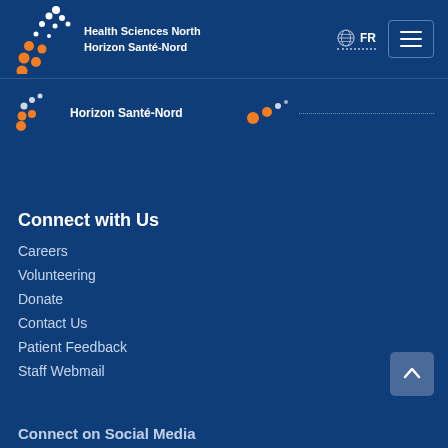[Figure (logo): Health Sciences North / Horizon Santé-Nord logo with white dots arc and orange dots]
Health Sciences North
Horizon Santé-Nord
[Figure (logo): Globe icon with FR language selector]
[Figure (illustration): Hamburger menu button icon]
[Figure (logo): Horizon Santé-Nord secondary logo with orange/white dots]
Horizon Santé-Nord
Connect with Us
Careers
Volunteering
Donate
Contact Us
Patient Feedback
Staff Webmail
Connect on Social Media